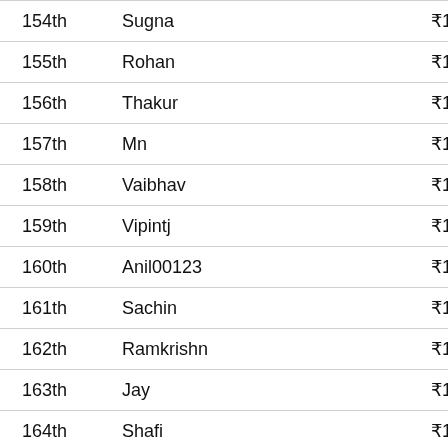| Rank | Name | Prize |
| --- | --- | --- |
| 154th | Sugna | ₹10 |
| 155th | Rohan | ₹10 |
| 156th | Thakur | ₹10 |
| 157th | Mn | ₹10 |
| 158th | Vaibhav | ₹10 |
| 159th | Vipintj | ₹10 |
| 160th | Anil00123 | ₹10 |
| 161th | Sachin | ₹10 |
| 162th | Ramkrishn | ₹10 |
| 163th | Jay | ₹10 |
| 164th | Shafi | ₹10 |
| 165th | Harry | ₹10 |